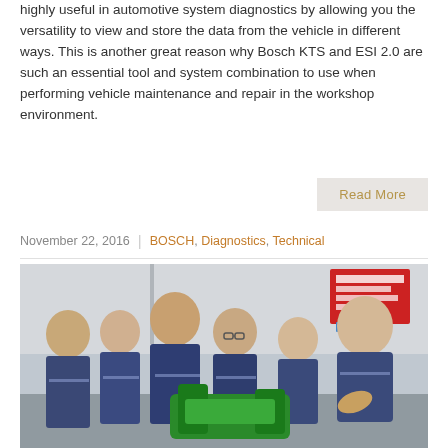highly useful in automotive system diagnostics by allowing you the versatility to view and store the data from the vehicle in different ways. This is another great reason why Bosch KTS and ESI 2.0 are such an essential tool and system combination to use when performing vehicle maintenance and repair in the workshop environment.
Read More
November 22, 2016 | BOSCH, Diagnostics, Technical
[Figure (photo): Group of automotive technicians in blue overalls gathered around a green diagnostic tool/device being demonstrated by an instructor in a workshop environment. A red and white sign is visible in the background.]